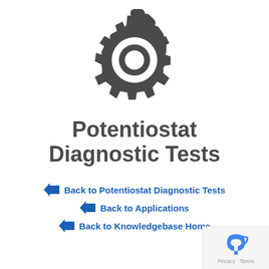[Figure (illustration): A gear/settings icon in dark gray color, representing diagnostic tools]
Potentiostat Diagnostic Tests
Back to Potentiostat Diagnostic Tests
Back to Applications
Back to Knowledgebase Home
Privacy · Terms